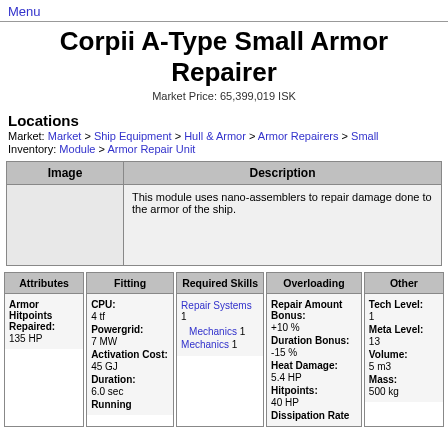Menu
Corpii A-Type Small Armor Repairer
Market Price: 65,399,019 ISK
Locations
Market: Market > Ship Equipment > Hull & Armor > Armor Repairers > Small
Inventory: Module > Armor Repair Unit
| Image | Description |
| --- | --- |
|  | This module uses nano-assemblers to repair damage done to the armor of the ship. |
| Attributes |
| --- |
| Armor Hitpoints Repaired: | 135 HP |
| Fitting |
| --- |
| CPU: | 4 tf |
| Powergrid: | 7 MW |
| Activation Cost: | 45 GJ |
| Duration: | 6.0 sec |
| Running |  |
| Required Skills |
| --- |
| Repair Systems 1 |  |
| Mechanics 1 |  |
| Mechanics 1 |  |
| Overloading |
| --- |
| Repair Amount Bonus: | +10 % |
| Duration Bonus: | -15 % |
| Heat Damage: | 5.4 HP |
| Hitpoints: | 40 HP |
| Dissipation Rate |  |
| Other |
| --- |
| Tech Level: | 1 |
| Meta Level: | 13 |
| Volume: | 5 m3 |
| Mass: | 500 kg |